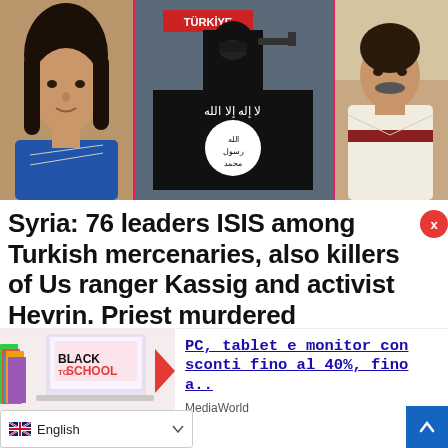[Figure (photo): Three-panel composite image: left panel shows a woman with dark hair in a blue top; center panel shows a figure in black balaclava holding an ISIS flag in front of a 'TÜRKİYE' sign; right panel shows a man in religious robes.]
Syria: 76 leaders ISIS among Turkish mercenaries, also killers of Us ranger Kassig and activist Hevrin. Priest murdered
[Figure (photo): Black to School promotional advertisement image showing books and a laptop]
PC, tablet e monitor con sconti fino al 40%, fino a..
MediaWorld
English